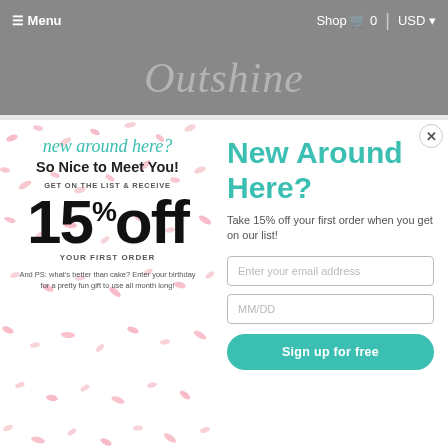☰ Menu   Shop 🛒 0 | USD ▾
[Figure (logo): Outshine script logo in cursive text on gray background]
[Figure (screenshot): Modal popup overlay with two panels. Left panel: pink confetti background with 'new around here?' in teal italic script, 'So Nice to Meet You!' in bold, 'GET ON THE LIST & RECEIVE' small caps, '15% off' large bold text, 'YOUR FIRST ORDER' small caps, and PS birthday gift note. Right panel: 'New Around Here?' in large teal bold, tagline 'Take 15% off your first order when you get on our list!', email input field, MM/DD birthday input field, and teal 'Sign up for free' button.]
5. Move your body: Engage in regular heart pounding activity on most days that gets you up and moving for (at
body and mind, how they impa... (age 25) and read... idents related to... alcohol, This... decision about how to proceed. 4. Get b... nce. Li... Devices. Too And... ill make you eat too much ti... make you mad, and playing to... sap your... so, (W... and c... healthier and happier